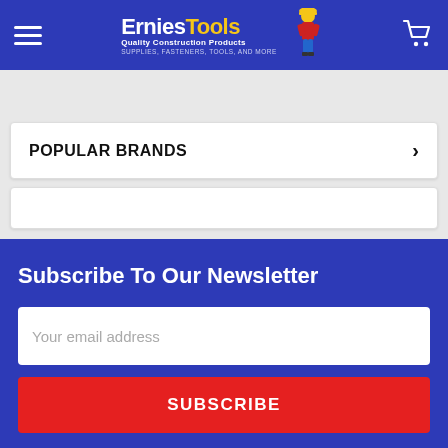Ernies Tools - Quality Construction Products - Supplies, Fasteners, Tools, and More
POPULAR BRANDS
Subscribe To Our Newsletter
Your email address
SUBSCRIBE